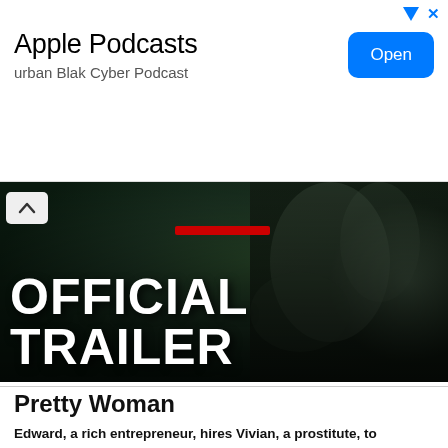[Figure (screenshot): Apple Podcasts advertisement banner with Open button]
Apple Podcasts
urban Blak Cyber Podcast
[Figure (photo): Movie trailer thumbnail with text OFFICIAL TRAILER overlaid on dark sci-fi imagery]
Pretty Woman
Edward, a rich entrepreneur, hires Vivian, a prostitute, to accompany him to a few social events. Trouble ensues when he falls in love with her and they try to bridge the gap between their worlds.
[Figure (screenshot): Pretty Woman (1990) Trailer #1 video thumbnail with Classic Trailers logo]